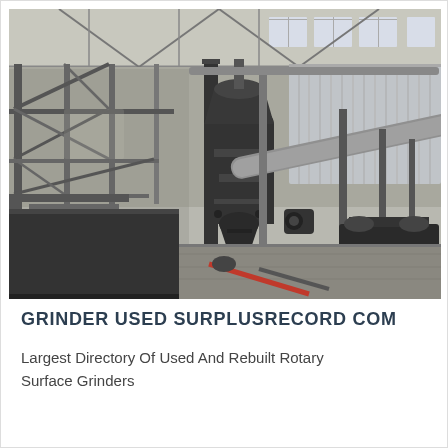[Figure (photo): Interior of an industrial facility showing large grinding/milling machinery including a vertical mill, cyclone separator, belt conveyors, structural steel framework, and other heavy industrial equipment on a concrete floor inside a large warehouse building with windows letting in natural light.]
GRINDER USED SURPLUSRECORD COM
Largest Directory Of Used And Rebuilt Rotary Surface Grinders